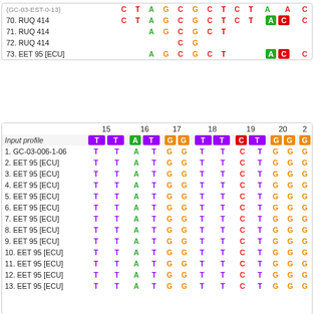| Name | col1a | col1b | col2a | col2b | col3a | col3b | col4a | col4b | col5a | col5b | col6a | col6b | col7a |
| --- | --- | --- | --- | --- | --- | --- | --- | --- | --- | --- | --- | --- | --- |
| (70. GC-03-EST-0-13) | C | T | A | G | C | G | C | T | C | T | A | C | C |
| 70. RUQ 414 | C | T | A | G | C | G | C | T | C | T | A[box] | C[box] | C |
| 71. RUQ 414 |  |  | A | G | C | G | C | T |  |  |  |  |  |
| 72. RUQ 414 |  |  |  |  | C | G |  |  |  |  |  |  |  |
| 73. EET 95 [ECU] |  |  | A | G | C | G | C | T |  |  | A[box] | C[box] | C |
| Name | 15a | 15b | 16a | 16b | 17a | 17b | 18a | 18b | 19a | 19b | 20a | 20b | 21 |
| --- | --- | --- | --- | --- | --- | --- | --- | --- | --- | --- | --- | --- | --- |
| Input profile | T | T | A | T | G | G | T | T | C | T | G | G | G |
| 1. GC-03-006-1-06 | T | T | A | T | G | G | T | T | C | T | G | G | G |
| 2. EET 95 [ECU] | T | T | A | T | G | G | T | T | C | T | G | G | G |
| 3. EET 95 [ECU] | T | T | A | T | G | G | T | T | C | T | G | G | G |
| 4. EET 95 [ECU] | T | T | A | T | G | G | T | T | C | T | G | G | G |
| 5. EET 95 [ECU] | T | T | A | T | G | G | T | T | C | T | G | G | G |
| 6. EET 95 [ECU] | T | T | A | T | G | G | T | T | C | T | G | G | G |
| 7. EET 95 [ECU] | T | T | A | T | G | G | T | T | C | T | G | G | G |
| 8. EET 95 [ECU] | T | T | A | T | G | G | T | T | C | T | G | G | G |
| 9. EET 95 [ECU] | T | T | A | T | G | G | T | T | C | T | G | G | G |
| 10. EET 95 [ECU] | T | T | A | T | G | G | T | T | C | T | G | G | G |
| 11. EET 95 [ECU] | T | T | A | T | G | G | T | T | C | T | G | G | G |
| 12. EET 95 [ECU] | T | T | A | T | G | G | T | T | C | T | G | G | G |
| 13. EET 95 [ECU] | T | T | A | T | G | G | T | T | C | T | G | G | G |